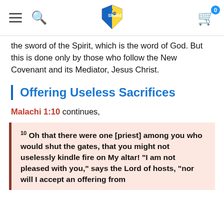Navigation bar with menu, search, shield logo, cart (0)
the sword of the Spirit, which is the word of God. But this is done only by those who follow the New Covenant and its Mediator, Jesus Christ.
Offering Useless Sacrifices
Malachi 1:10 continues,
10 Oh that there were one [priest] among you who would shut the gates, that you might not uselessly kindle fire on My altar! "I am not pleased with you," says the Lord of hosts, "nor will I accept an offering from